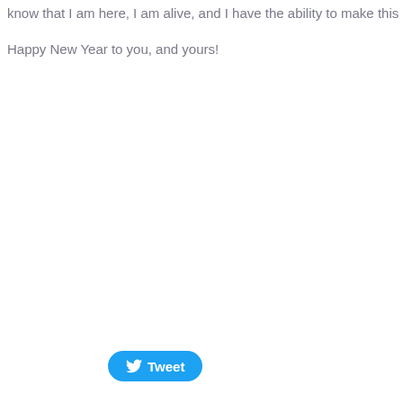know that I am here, I am alive, and I have the ability to make this next stretch
Happy New Year to you, and yours!
[Figure (other): Tweet button with Twitter bird icon]